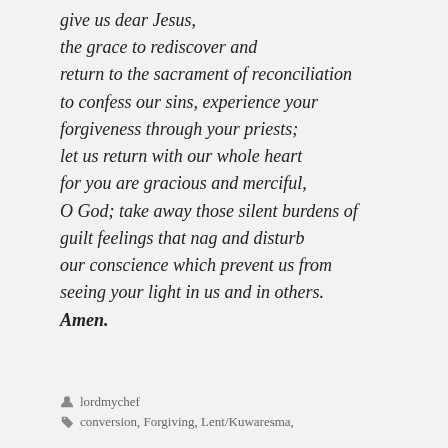give us dear Jesus,
the grace to rediscover and
return to the sacrament of reconciliation
to confess our sins, experience your
forgiveness through your priests;
let us return with our whole heart
for you are gracious and merciful,
O God; take away those silent burdens of
guilt feelings that nag and disturb
our conscience which prevent us from
seeing your light in us and in others.
Amen.
lordmychef
conversion, Forgiving, Lent/Kuwaresma,